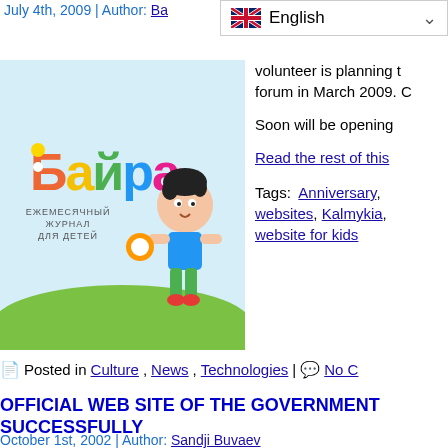July 4th, 2009 | Author: Ba...
[Figure (illustration): Colorful children's magazine logo 'Байра' (ежемесячный журнал для детей) with cartoon child character on green grass background]
volunteer is planning the forum in March 2009. C
Soon will be opening
Read the rest of this
Tags: Anniversary, websites, Kalmykia, website for kids
Posted in Culture, News, Technologies | No C
OFFICIAL WEB SITE OF THE GOVERNMENT SUCCESSFULLY
October 1st, 2002 | Author: Sandji Buvaev
Information Republic o
[Figure (photo): Landscape photo with sky and possibly a person, partially visible]